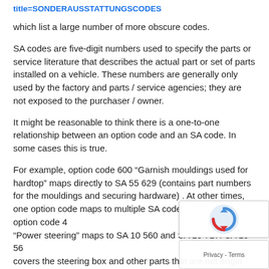title=SONDERAUSSTATTUNGSCODES
which list a large number of more obscure codes.
SA codes are five-digit numbers used to specify the parts or service literature that describes the actual part or set of parts installed on a vehicle. These numbers are generally only used by the factory and parts / service agencies; they are not exposed to the purchaser / owner.
It might be reasonable to think there is a one-to-one relationship between an option code and an SA code. In some cases this is true.
For example, option code 600 “Garnish mouldings used for hardtop” maps directly to SA 55 629 (contains part numbers for the mouldings and securing hardware) . At other times, one option code maps to multiple SA codes. For example, option code 422 “Power steering” maps to SA 10 560 and SA 10 717. SA 10 560 covers the steering box and other parts that are not engine-dependent. SA 10 717 covers the parts requiring consultation the